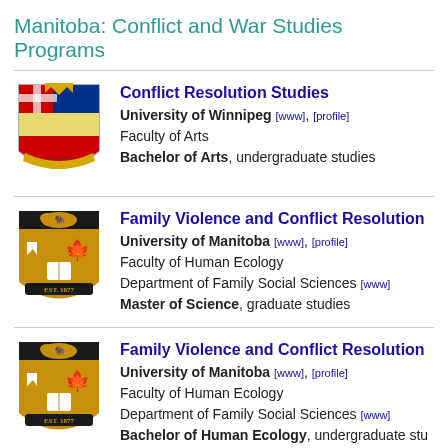Manitoba: Conflict and War Studies Programs
Conflict Resolution Studies
University of Winnipeg [www], [profile]
Faculty of Arts
Bachelor of Arts, undergraduate studies
Family Violence and Conflict Resolution
University of Manitoba [www], [profile]
Faculty of Human Ecology
Department of Family Social Sciences [www]
Master of Science, graduate studies
Family Violence and Conflict Resolution
University of Manitoba [www], [profile]
Faculty of Human Ecology
Department of Family Social Sciences [www]
Bachelor of Human Ecology, undergraduate stu